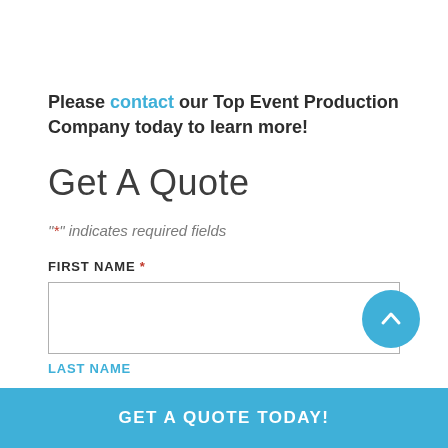Please contact our Top Event Production Company today to learn more!
Get A Quote
"*" indicates required fields
FIRST NAME *
GET A QUOTE TODAY!